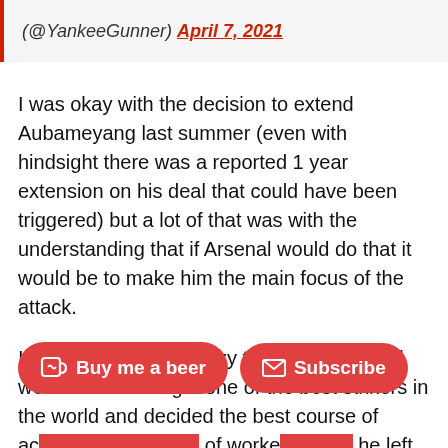(@YankeeGunner) April 7, 2021
I was okay with the decision to extend Aubameyang last summer (even with hindsight there was a reported 1 year extension on his deal that could have been triggered) but a lot of that was with the understanding that if Arsenal would do that it would be to make him the main focus of the attack.
It has always been crazy to me that Arsenal went out and bought one of the best strikers in the world and decided the best course of ac[tion would be to use him kind] of worke[d when he was on the] left but there has still been a major drop off in his